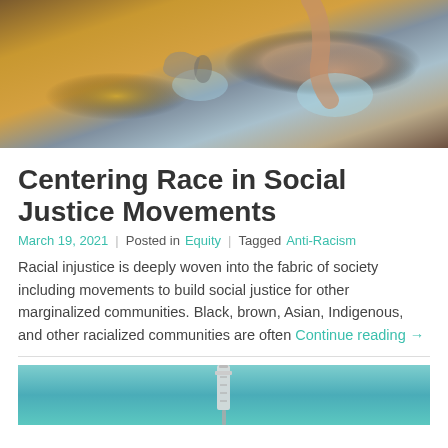[Figure (photo): Protesters wearing face masks at a rally; a woman in a beige hijab raises her fist]
Centering Race in Social Justice Movements
March 19, 2021  |  Posted in Equity  |  Tagged Anti-Racism
Racial injustice is deeply woven into the fabric of society including movements to build social justice for other marginalized communities. Black, brown, Asian, Indigenous, and other racialized communities are often Continue reading →
[Figure (photo): Close-up of a medical syringe against a teal/turquoise background]